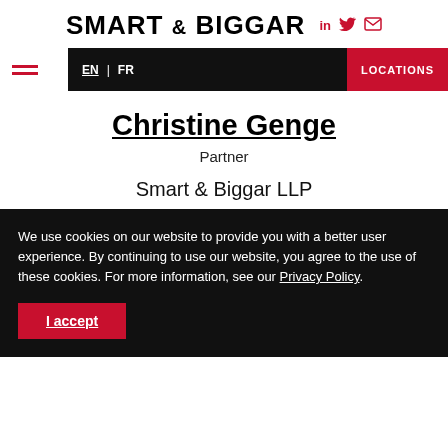SMART & BIGGAR
EN | FR    LOCATIONS
Christine Genge
Partner
Smart & Biggar LLP
We use cookies on our website to provide you with a better user experience. By continuing to use our website, you agree to the use of these cookies. For more information, see our Privacy Policy.
I accept